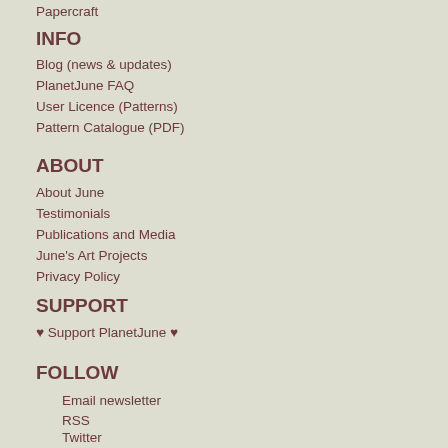Papercraft
INFO
Blog (news & updates)
PlanetJune FAQ
User Licence (Patterns)
Pattern Catalogue (PDF)
ABOUT
About June
Testimonials
Publications and Media
June's Art Projects
Privacy Policy
SUPPORT
♥ Support PlanetJune ♥
FOLLOW
Email newsletter
RSS
Twitter
Facebook
YouTube
Ravelry: June